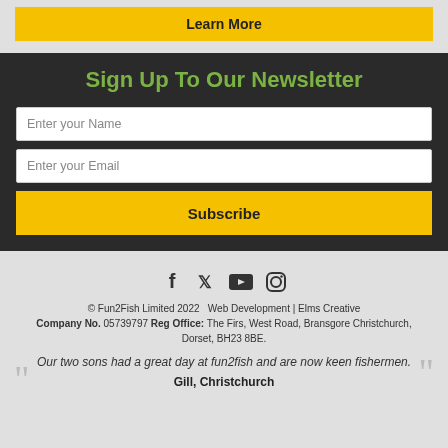Learn More
Sign Up To Our Newsletter
Enter your Name
Enter your Email
Subscribe
[Figure (infographic): Social media icons: Facebook, Twitter, YouTube, Instagram]
© Fun2Fish Limited 2022   Web Development | Elms Creative
Company No. 05739797  Reg Office: The Firs, West Road, Bransgore Christchurch, Dorset, BH23 8BE.
Our two sons had a great day at fun2fish and are now keen fishermen.
Gill, Christchurch